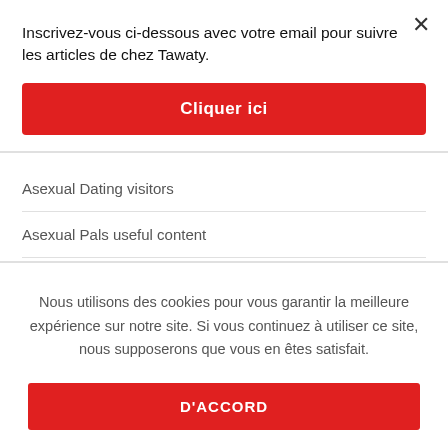Inscrivez-vous ci-dessous avec votre email pour suivre les articles de chez Tawaty.
Cliquer ici
Asexual Dating visitors
Asexual Pals useful content
Asexualitic useful content
ashley madison fr review
Nous utilisons des cookies pour vous garantir la meilleure expérience sur notre site. Si vous continuez à utiliser ce site, nous supposerons que vous en êtes satisfait.
D'ACCORD